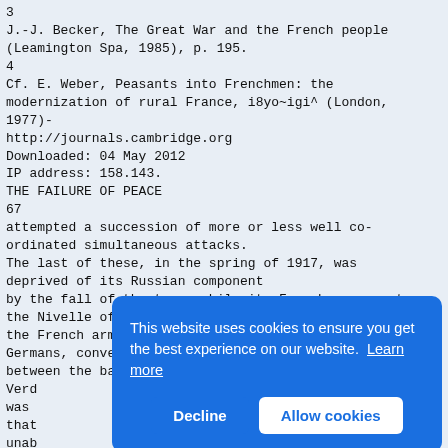3
J.-J. Becker, The Great War and the French people (Leamington Spa, 1985), p. 195.
4
Cf. E. Weber, Peasants into Frenchmen: the modernization of rural France, i8yo~igi^ (London, 1977)-
http://journals.cambridge.org
Downloaded: 04 May 2012
IP address: 158.143.
THE FAILURE OF PEACE
67
attempted a succession of more or less well co-ordinated simultaneous attacks.
The last of these, in the spring of 1917, was deprived of its Russian component
by the fall of the tsar, while its French component - the Nivelle offensive sparked off mutinies from which the French army took months to recover. The Germans, conversely, launched no major land offensive between the battle of
Verd
was
that
unab
Brit
bear
autu
char
war.
hope
were now entangled and the prospect for a purely military solution had